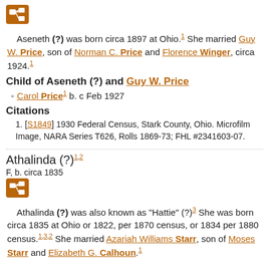[Figure (other): Orange family tree icon button]
Aseneth (?) was born circa 1897 at Ohio.1 She married Guy W. Price, son of Norman C. Price and Florence Winger, circa 1924.1
Child of Aseneth (?) and Guy W. Price
Carol Price1 b. c Feb 1927
Citations
1. [S1849] 1930 Federal Census, Stark County, Ohio. Microfilm Image, NARA Series T626, Rolls 1869-73; FHL #2341603-07.
Athalinda (?)1,2
F, b. circa 1835
[Figure (other): Orange family tree icon button]
Athalinda (?) was also known as "Hattie" (?)3 She was born circa 1835 at Ohio or 1822, per 1870 census, or 1834 per 1880 census.1,3,2 She married Azariah Williams Starr, son of Moses Starr and Elizabeth G. Calhoun.1